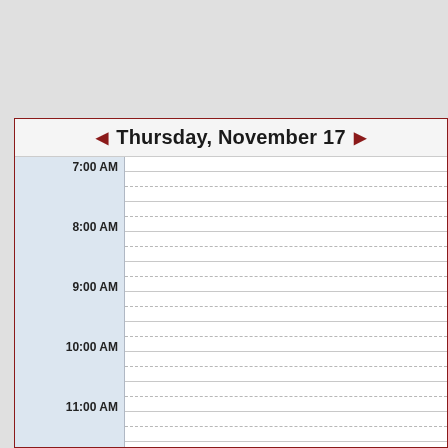Thursday, November 17
| Time | Events |
| --- | --- |
| 7:00 AM |  |
| 8:00 AM |  |
| 9:00 AM |  |
| 10:00 AM |  |
| 11:00 AM |  |